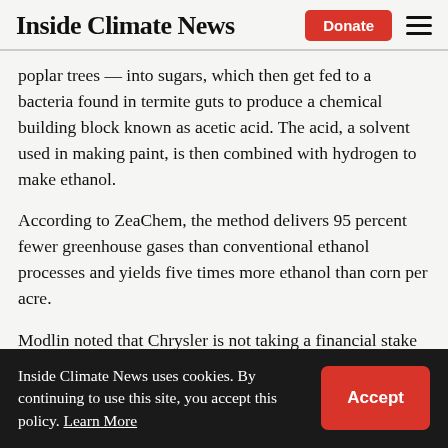Inside Climate News
poplar trees — into sugars, which then get fed to a bacteria found in termite guts to produce a chemical building block known as acetic acid. The acid, a solvent used in making paint, is then combined with hydrogen to make ethanol.
According to ZeaChem, the method delivers 95 percent fewer greenhouse gases than conventional ethanol processes and yields five times more ethanol than corn per acre.
Modlin noted that Chrysler is not taking a financial stake in ZeaChem, nor explicitly
Inside Climate News uses cookies. By continuing to use this site, you accept this policy. Learn More